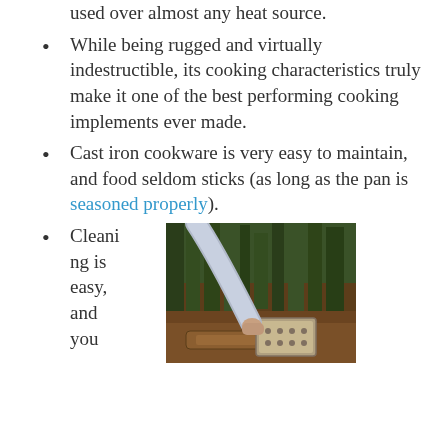used over almost any heat source.
While being rugged and virtually indestructible, its cooking characteristics truly make it one of the best performing cooking implements ever made.
Cast iron cookware is very easy to maintain, and food seldom sticks (as long as the pan is seasoned properly).
Cleaning is easy, and you
[Figure (photo): Person holding a cast iron cookware piece outdoors on logs in a forest setting.]